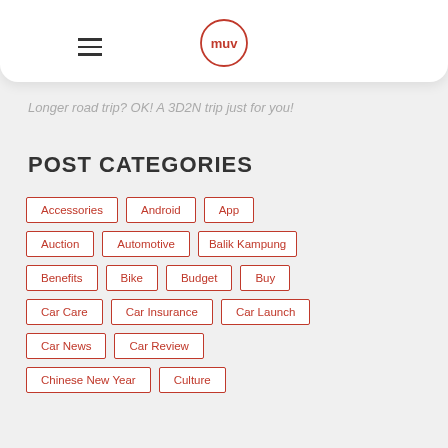MUV logo and hamburger menu
Longer road trip? OK! A 3D2N trip just for you!
POST CATEGORIES
Accessories
Android
App
Auction
Automotive
Balik Kampung
Benefits
Bike
Budget
Buy
Car Care
Car Insurance
Car Launch
Car News
Car Review
Chinese New Year
Culture